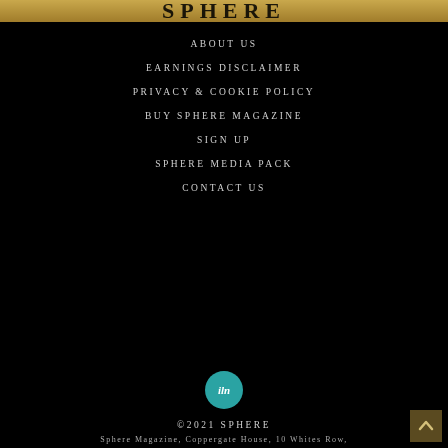SPHERE
ABOUT US
EARNINGS DISCLAIMER
PRIVACY & COOKIE POLICY
BUY SPHERE MAGAZINE
SIGN UP
SPHERE MEDIA PACK
CONTACT US
[Figure (logo): ILN teal circular logo]
©2021 SPHERE
Sphere Magazine, Coppergate House, 10 Whites Row,